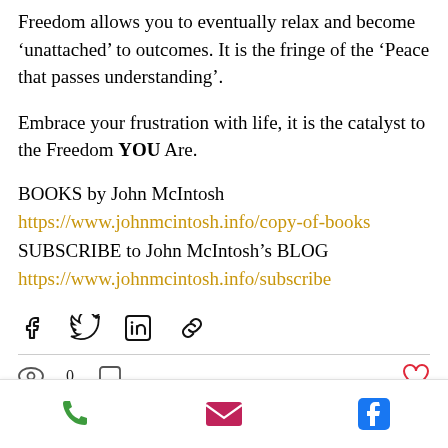Freedom allows you to eventually relax and become ‘unattached’ to outcomes. It is the fringe of the ‘Peace that passes understanding’.
Embrace your frustration with life, it is the catalyst to the Freedom YOU Are.
BOOKS by John McIntosh
https://www.johnmcintosh.info/copy-of-books
SUBSCRIBE to John McIntosh’s BLOG
https://www.johnmcintosh.info/subscribe
[Figure (infographic): Social share icons: Facebook, Twitter, LinkedIn, Link]
[Figure (infographic): Post stats bar: eye/views icon with 0, comment icon, and heart/like icon on right]
[Figure (infographic): Bottom action bar with phone icon (green), email icon (pink/red), and Facebook icon (blue)]